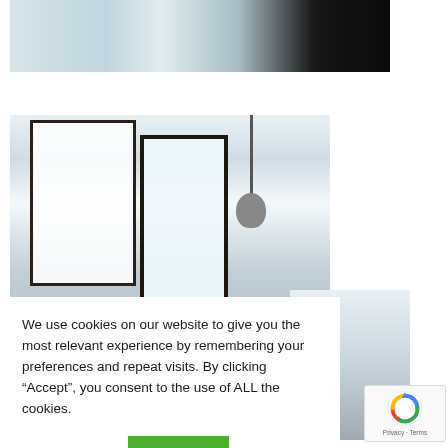[Figure (photo): Partial interior photo showing a room with wooden floor, black table legs, and a white wall with a radiator]
[Figure (photo): Interior room photo showing white walls, large windows with dark frames, a pendant lamp, and wooden floor]
We use cookies on our website to give you the most relevant experience by remembering your preferences and repeat visits. By clicking “Accept”, you consent to the use of ALL the cookies.
Cookie settings
ACCEPT
[Figure (other): reCAPTCHA badge with Privacy and Terms links]
Navigoring